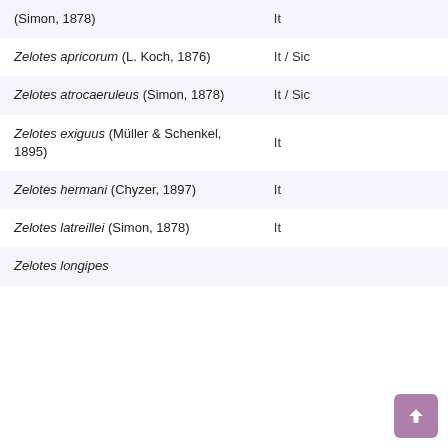| Species | Distribution |
| --- | --- |
| (Simon, 1878) | It |
| Zelotes apricorum (L. Koch, 1876) | It / Sic |
| Zelotes atrocaeruleus (Simon, 1878) | It / Sic |
| Zelotes exiguus (Müller & Schenkel, 1895) | It |
| Zelotes hermani (Chyzer, 1897) | It |
| Zelotes latreillei (Simon, 1878) | It |
| Zelotes longipes |  |